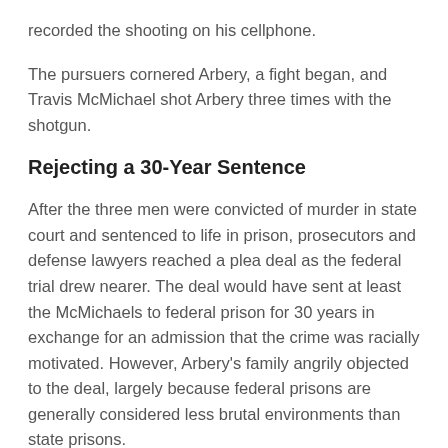recorded the shooting on his cellphone.
The pursuers cornered Arbery, a fight began, and Travis McMichael shot Arbery three times with the shotgun.
Rejecting a 30-Year Sentence
After the three men were convicted of murder in state court and sentenced to life in prison, prosecutors and defense lawyers reached a plea deal as the federal trial drew nearer. The deal would have sent at least the McMichaels to federal prison for 30 years in exchange for an admission that the crime was racially motivated. However, Arbery's family angrily objected to the deal, largely because federal prisons are generally considered less brutal environments than state prisons.
After hearing the family's plea, Judge Wood agreed and said the deal would force her to agree to its exact sentencing